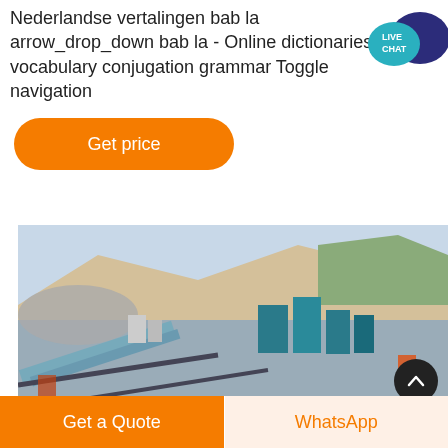Nederlandse vertalingen bab la arrow_drop_down bab la - Online dictionaries vocabulary conjugation grammar Toggle navigation
[Figure (illustration): Live Chat speech bubble icon in teal/dark blue]
[Figure (other): Orange rounded rectangle button labeled Get price]
[Figure (photo): Aerial/wide view of a mining or quarrying industrial site with conveyor belts, crushers, and heavy machinery set against rocky hillside]
Get a Quote
WhatsApp